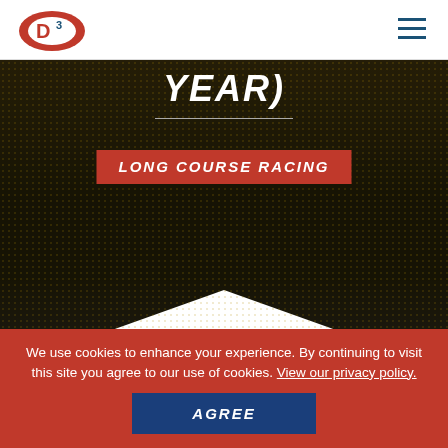D3 logo and navigation
[Figure (screenshot): Hero image of racing/pit crew scene with halftone overlay, italic text 'YEAR)' partially visible, red badge reading 'LONG COURSE RACING']
WRITTEN BY: SIMON BUTTERWORTH
ON: 01/25/2017
We use cookies to enhance your experience. By continuing to visit this site you agree to our use of cookies. View our privacy policy. AGREE